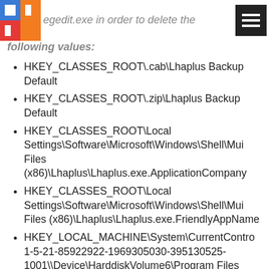egedit.exe in order to delete the following values:
HKEY_CLASSES_ROOT\.cab\Lhaplus Backup Default
HKEY_CLASSES_ROOT\.zip\Lhaplus Backup Default
HKEY_CLASSES_ROOT\Local Settings\Software\Microsoft\Windows\Shell\MuiCache\Program Files (x86)\Lhaplus\Lhaplus.exe.ApplicationCompany
HKEY_CLASSES_ROOT\Local Settings\Software\Microsoft\Windows\Shell\MuiCache\Program Files (x86)\Lhaplus\Lhaplus.exe.FriendlyAppName
HKEY_LOCAL_MACHINE\System\CurrentControlSet\Control\Session Manager\AppCompatCache ... 1-5-21-85922922-1969305030-395130525-1001\Device\HarddiskVolume6\Program Files